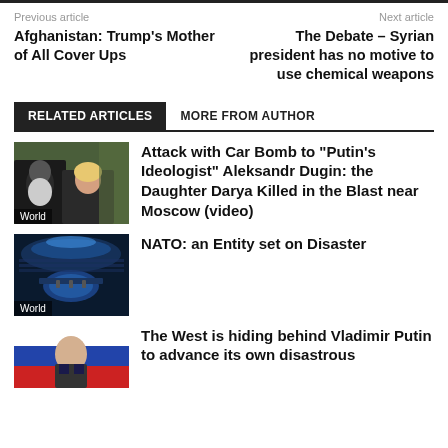Previous article
Next article
Afghanistan: Trump’s Mother of All Cover Ups
The Debate – Syrian president has no motive to use chemical weapons
RELATED ARTICLES    MORE FROM AUTHOR
[Figure (photo): Photo of Aleksandr Dugin and his daughter Darya, with foliage in background]
Attack with Car Bomb to “Putin’s Ideologist” Aleksandr Dugin: the Daughter Darya Killed in the Blast near Moscow (video)
[Figure (photo): Photo of NATO conference room with circular table and arena-style seating]
NATO: an Entity set on Disaster
[Figure (photo): Photo of Vladimir Putin against red background]
The West is hiding behind Vladimir Putin to advance its own disastrous